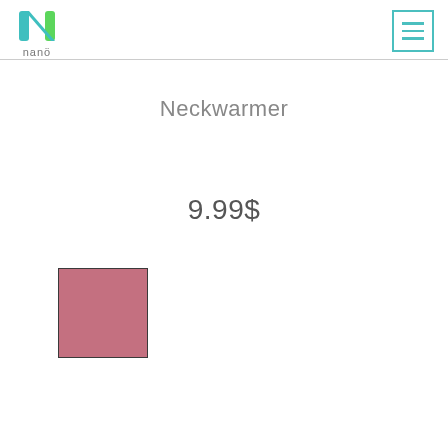[Figure (logo): Nanö brand logo with teal N icon and 'nanö' text below]
[Figure (illustration): Hamburger menu button with three horizontal teal lines inside a teal bordered square]
Neckwarmer
9.99$
[Figure (illustration): A dusty rose/mauve colored square swatch representing a product color option]